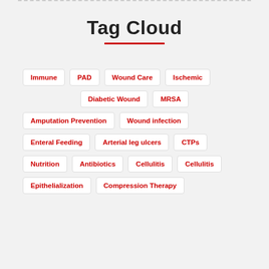Tag Cloud
Immune
PAD
Wound Care
Ischemic
Diabetic Wound
MRSA
Amputation Prevention
Wound infection
Enteral Feeding
Arterial leg ulcers
CTPs
Nutrition
Antibiotics
Cellulitis
Cellulitis
Epithelialization
Compression Therapy